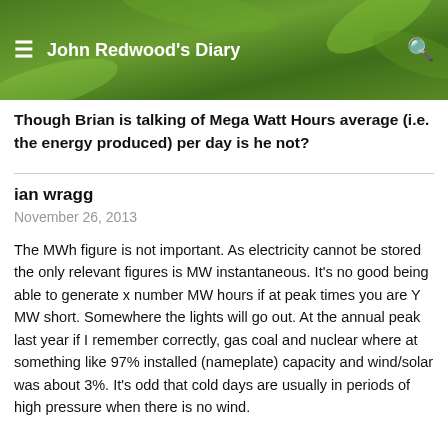John Redwood's Diary
Though Brian is talking of Mega Watt Hours average (i.e. the energy produced) per day is he not?
ian wragg
November 26, 2013
The MWh figure is not important. As electricity cannot be stored the only relevant figures is MW instantaneous. It's no good being able to generate x number MW hours if at peak times you are Y MW short. Somewhere the lights will go out. At the annual peak last year if I remember correctly, gas coal and nuclear where at something like 97% installed (nameplate) capacity and wind/solar was about 3%. It's odd that cold days are usually in periods of high pressure when there is no wind.